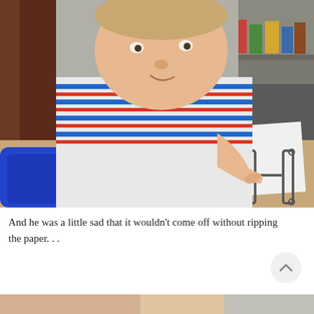[Figure (photo): A young toddler boy in a striped white, blue, and orange shirt sits at a table with a blue plastic tray. He is pressing his finger onto a white paper that has letter outlines (J and H shapes) drawn on it. There appears to be a small red dot where his finger is touching.]
And he was a little sad that it wouldn't come off without ripping the paper. . .
[Figure (photo): Partial view of a second photo at the bottom of the page, showing what appears to be a hand or skin close-up with a light background.]